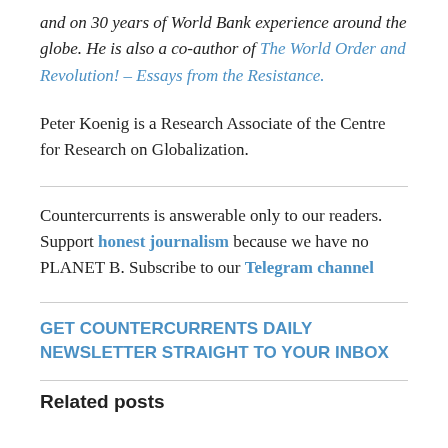and on 30 years of World Bank experience around the globe. He is also a co-author of The World Order and Revolution! – Essays from the Resistance.
Peter Koenig is a Research Associate of the Centre for Research on Globalization.
Countercurrents is answerable only to our readers. Support honest journalism because we have no PLANET B. Subscribe to our Telegram channel
GET COUNTERCURRENTS DAILY NEWSLETTER STRAIGHT TO YOUR INBOX
Related posts